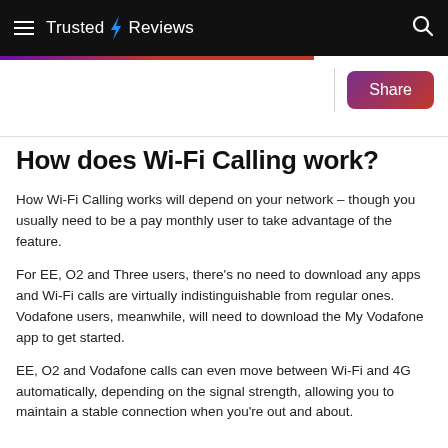Trusted Reviews
How does Wi-Fi Calling work?
How Wi-Fi Calling works will depend on your network – though you usually need to be a pay monthly user to take advantage of the feature.
For EE, O2 and Three users, there's no need to download any apps and Wi-Fi calls are virtually indistinguishable from regular ones. Vodafone users, meanwhile, will need to download the My Vodafone app to get started.
EE, O2 and Vodafone calls can even move between Wi-Fi and 4G automatically, depending on the signal strength, allowing you to maintain a stable connection when you're out and about.